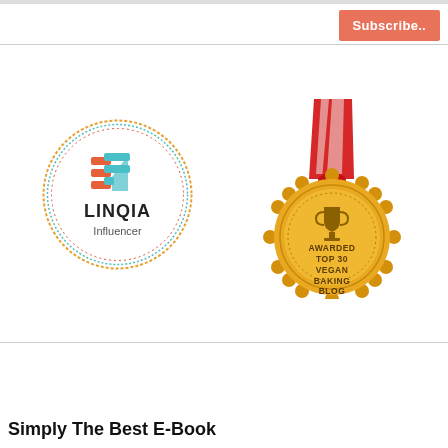[Figure (logo): Subscribe button (salmon/coral colored button with text 'Subscribe..')]
[Figure (logo): LINQIA Influencer circular logo with orange and teal icon inside a dotted orange/teal/red circle border]
[Figure (illustration): Gold medal with red and white ribbon awarded 'AWARDED TOP 30 VEGAN BAKING BLOG']
Simply The Best E-Book